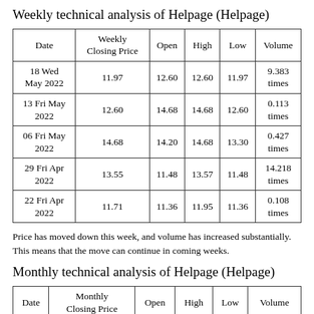Weekly technical analysis of Helpage (Helpage)
| Date | Weekly Closing Price | Open | High | Low | Volume |
| --- | --- | --- | --- | --- | --- |
| 18 Wed May 2022 | 11.97 | 12.60 | 12.60 | 11.97 | 9.383 times |
| 13 Fri May 2022 | 12.60 | 14.68 | 14.68 | 12.60 | 0.113 times |
| 06 Fri May 2022 | 14.68 | 14.20 | 14.68 | 13.30 | 0.427 times |
| 29 Fri Apr 2022 | 13.55 | 11.48 | 13.57 | 11.48 | 14.218 times |
| 22 Fri Apr 2022 | 11.71 | 11.36 | 11.95 | 11.36 | 0.108 times |
Price has moved down this week, and volume has increased substantially. This means that the move can continue in coming weeks.
Monthly technical analysis of Helpage (Helpage)
| Date | Monthly Closing Price | Open | High | Low | Volume |
| --- | --- | --- | --- | --- | --- |